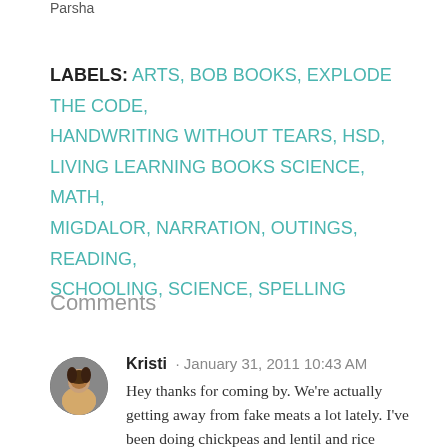Parsha
LABELS: ARTS, BOB BOOKS, EXPLODE THE CODE, HANDWRITING WITHOUT TEARS, HSD, LIVING LEARNING BOOKS SCIENCE, MATH, MIGDALOR, NARRATION, OUTINGS, READING, SCHOOLING, SCIENCE, SPELLING
Comments
Kristi · January 31, 2011 10:43 AM
Hey thanks for coming by. We're actually getting away from fake meats a lot lately. I've been doing chickpeas and lentil and rice "ground beef" mix that really isn't "fake